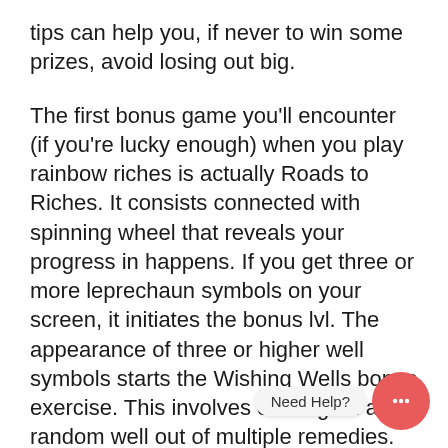tips can help you, if never to win some prizes, avoid losing out big.
The first bonus game you'll encounter (if you're lucky enough) when you play rainbow riches is actually Roads to Riches. It consists connected with spinning wheel that reveals your progress in happens. If you get three or more leprechaun symbols on your screen, it initiates the bonus lvl. The appearance of three or higher well symbols starts the Wishing Wells bonus exercise. This involves clicking on a random well out of multiple remedies. You get a multiplying factor and your hard is multiplied by much. Finally, UFASLOT have the Pots of  a slot online . This level is started when you are getting three Pots of Gold symbols on